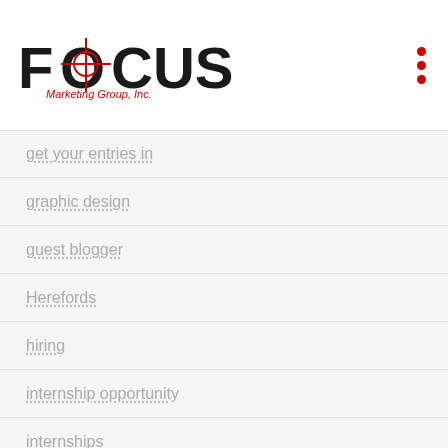[Figure (logo): FOCUS Marketing Group Inc. logo with crosshair on the O]
get your entries in
graphic design
guest blogger
Herefords
hiring
internship opportunity
internships
introductions
ISU Cyclone Classic